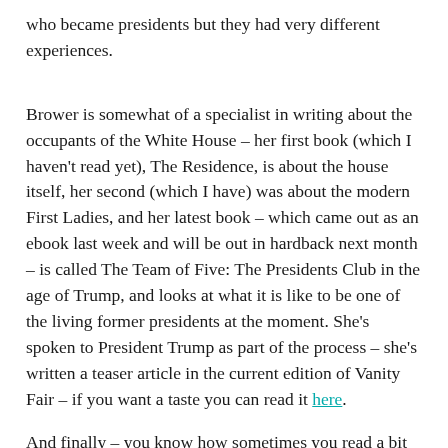who became presidents but they had very different experiences.
Brower is somewhat of a specialist in writing about the occupants of the White House – her first book (which I haven't read yet), The Residence, is about the house itself, her second (which I have) was about the modern First Ladies, and her latest book – which came out as an ebook last week and will be out in hardback next month – is called The Team of Five: The Presidents Club in the age of Trump, and looks at what it is like to be one of the living former presidents at the moment. She's spoken to President Trump as part of the process – she's written a teaser article in the current edition of Vanity Fair – if you want a taste you can read it here.
And finally – you know how sometimes you read a bit in a